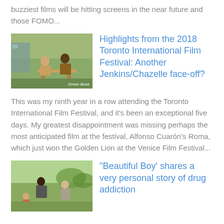buzziest films will be hitting screens in the near future and those FOMO...
[Figure (photo): Two men sitting at an outdoor table, scene from Green Book film]
Highlights from the 2018 Toronto International Film Festival: Another Jenkins/Chazelle face-off?
This was my ninth year in a row attending the Toronto International Film Festival, and it's been an exceptional five days. My greatest disappointment was missing perhaps the most anticipated film at the festival, Alfonso Cuarón's Roma, which just won the Golden Lion at the Venice Film Festival...
[Figure (photo): Scene from Beautiful Boy film showing people outdoors]
"Beautiful Boy' shares a very personal story of drug addiction